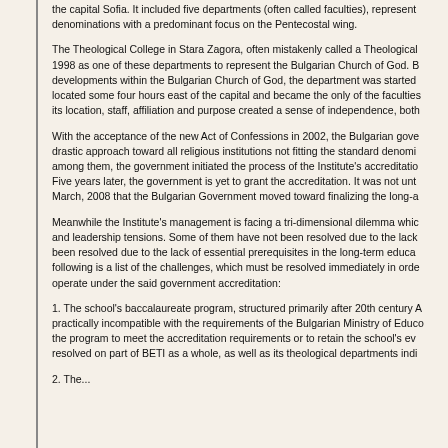the capital Sofia. It included five departments (often called faculties), representing denominations with a predominant focus on the Pentecostal wing.
The Theological College in Stara Zagora, often mistakenly called a Theological 1998 as one of these departments to represent the Bulgarian Church of God. B developments within the Bulgarian Church of God, the department was started located some four hours east of the capital and became the only of the faculties its location, staff, affiliation and purpose created a sense of independence, both
With the acceptance of the new Act of Confessions in 2002, the Bulgarian gove drastic approach toward all religious institutions not fitting the standard denomi among them, the government initiated the process of the Institute's accreditatio Five years later, the government is yet to grant the accreditation. It was not unt March, 2008 that the Bulgarian Government moved toward finalizing the long-a
Meanwhile the Institute's management is facing a tri-dimensional dilemma whic and leadership tensions. Some of them have not been resolved due to the lack been resolved due to the lack of essential prerequisites in the long-term educa following is a list of the challenges, which must be resolved immediately in orde operate under the said government accreditation:
1. The school's baccalaureate program, structured primarily after 20th century A practically incompatible with the requirements of the Bulgarian Ministry of Educo the program to meet the accreditation requirements or to retain the school's ev resolved on part of BETI as a whole, as well as its theological departments indi
2. The...